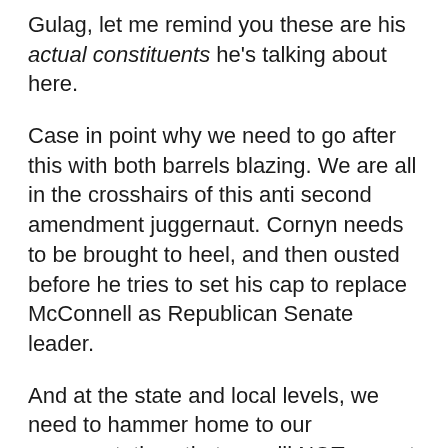Gulag, let me remind you these are his actual constituents he's talking about here.
Case in point why we need to go after this with both barrels blazing. We are all in the crosshairs of this anti second amendment juggernaut. Cornyn needs to be brought to heel, and then ousted before he tries to set his cap to replace McConnell as Republican Senate leader.
And at the state and local levels, we need to hammer home to our representatives that we will NOT accept red flag laws in return for filthy federal lucre, and we will not enact them under any circumstance.
No matter how many false flags the Feds perpetrate.